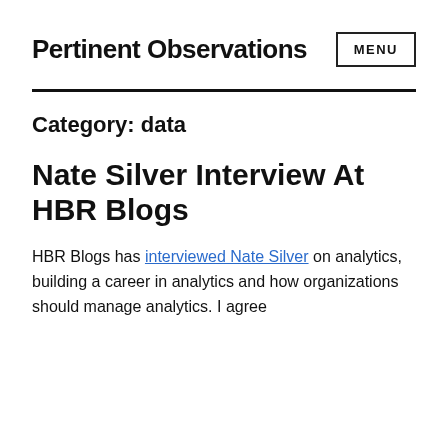Pertinent Observations
Category: data
Nate Silver Interview At HBR Blogs
HBR Blogs has interviewed Nate Silver on analytics, building a career in analytics and how organizations should manage analytics. I agree